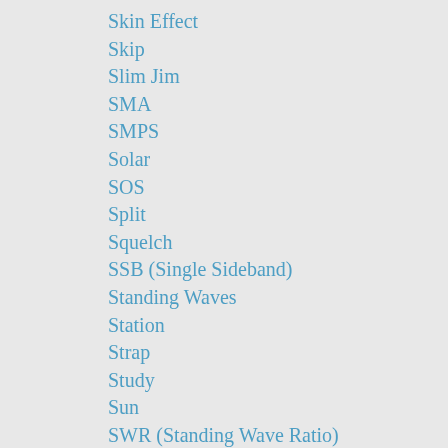Skin Effect
Skip
Slim Jim
SMA
SMPS
Solar
SOS
Split
Squelch
SSB (Single Sideband)
Standing Waves
Station
Strap
Study
Sun
SWR (Standing Wave Ratio)
Tag
Technician
Technician Class
Technique